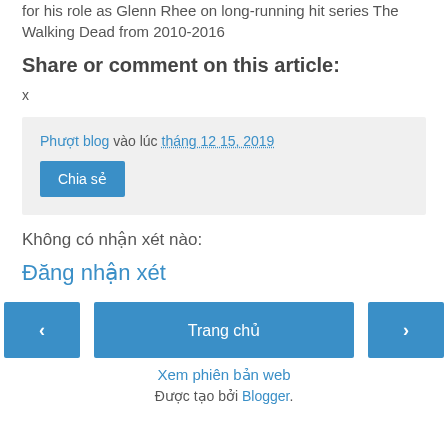for his role as Glenn Rhee on long-running hit series The Walking Dead from 2010-2016
Share or comment on this article:
x
Phượt blog vào lúc tháng 12 15, 2019
Chia sẻ
Không có nhận xét nào:
Đăng nhận xét
‹ | Trang chủ | ›
Xem phiên bản web
Được tạo bởi Blogger.